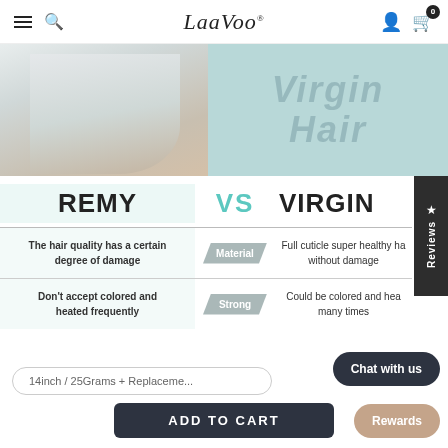LaaVoo
[Figure (photo): Hero banner showing a woman wearing a necklace with text 'Virgin Hair' overlay on teal background]
[Figure (infographic): Comparison infographic: REMY VS VIRGIN hair comparison table with Material and Strong categories]
14inch / 25Grams + Replacement
ADD TO CART
Chat with us
Rewards
★ Reviews